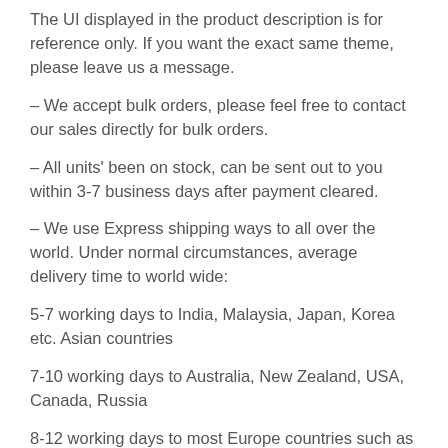The UI displayed in the product description is for reference only. If you want the exact same theme, please leave us a message.
– We accept bulk orders, please feel free to contact our sales directly for bulk orders.
– All units' been on stock, can be sent out to you within 3-7 business days after payment cleared.
– We use Express shipping ways to all over the world. Under normal circumstances, average delivery time to world wide:
5-7 working days to India, Malaysia, Japan, Korea etc. Asian countries
7-10 working days to Australia, New Zealand, USA, Canada, Russia
8-12 working days to most Europe countries such as France,